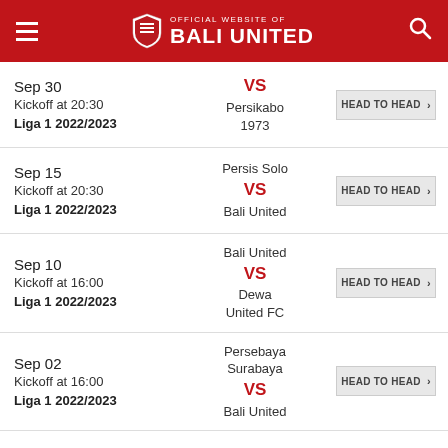OFFICIAL WEBSITE OF BALI UNITED
Sep 30
Kickoff at 20:30
Liga 1 2022/2023
VS
Persikabo 1973
HEAD TO HEAD
Sep 15
Kickoff at 20:30
Liga 1 2022/2023
Persis Solo
VS
Bali United
HEAD TO HEAD
Sep 10
Kickoff at 16:00
Liga 1 2022/2023
Bali United
VS
Dewa United FC
HEAD TO HEAD
Sep 02
Kickoff at 16:00
Liga 1 2022/2023
Persebaya Surabaya
VS
Bali United
HEAD TO HEAD